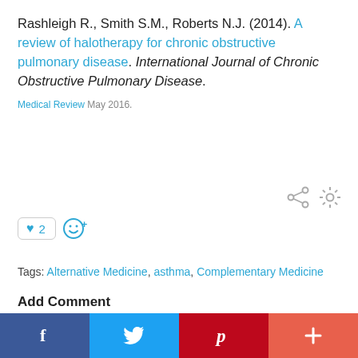Rashleigh R., Smith S.M., Roberts N.J. (2014). A review of halotherapy for chronic obstructive pulmonary disease. International Journal of Chronic Obstructive Pulmonary Disease.
Medical Review May 2016.
[Figure (other): Share and settings icons]
[Figure (other): Like button with count 2 and emoji reaction button]
Tags: Alternative Medicine, asthma, Complementary Medicine
Add Comment
Sign In To Comment
[Figure (other): Social sharing bar with Facebook, Twitter, Pinterest, and plus buttons]